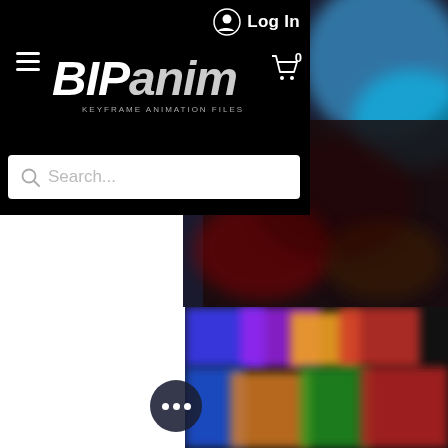[Figure (screenshot): BIPanim website navigation bar with black background, hamburger menu icon, BIPanim keyframe animation files logo, Log In button with user icon, and cart icon showing 0 items]
[Figure (screenshot): Search bar with magnifying glass icon and placeholder text 'Search...']
[Figure (screenshot): Blurred anime/game product image thumbnails visible on the right side and bottom portion of the page, with a '...' (more options) circular button overlay]